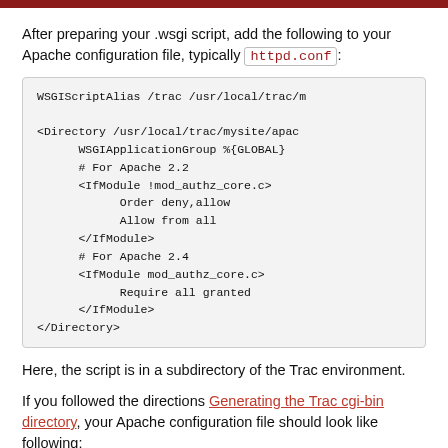After preparing your .wsgi script, add the following to your Apache configuration file, typically httpd.conf:
WSGIScriptAlias /trac /usr/local/trac/m

<Directory /usr/local/trac/mysite/apac
    WSGIApplicationGroup %{GLOBAL}
    # For Apache 2.2
    <IfModule !mod_authz_core.c>
        Order deny,allow
        Allow from all
    </IfModule>
    # For Apache 2.4
    <IfModule mod_authz_core.c>
        Require all granted
    </IfModule>
</Directory>
Here, the script is in a subdirectory of the Trac environment.
If you followed the directions Generating the Trac cgi-bin directory, your Apache configuration file should look like following: